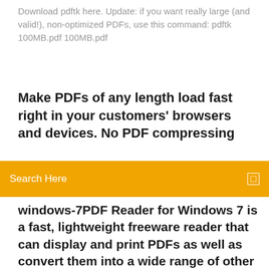Download pdftk here. Update: if you want really large (and valid!), non-optimized PDFs, use this command: pdftk 100MB.pdf 100MB.pdf
Make PDFs of any length load fast right in your customers' browsers and devices. No PDF compressing
[Figure (screenshot): Orange search bar overlay with text 'Search Here' and a small icon on the right]
windows-7PDF Reader for Windows 7 is a fast, lightweight freeware reader that can display and print PDFs as well as convert them into a wide range of other formats.
Pdf tools software for mac download, download pdf tools software for mac for free. JPG To PDF Converter , free and safe download. JPG To PDF Converter latest version: Convert images files quickly and easily. JPG To PDF Converter is a piece of software developed for Windows that allows users to convert th. Download AutoCAD for Windows now from Softonic: 100%